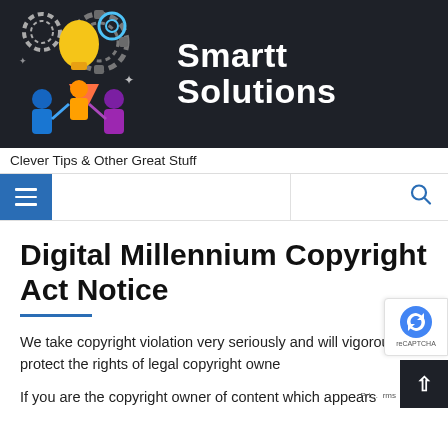[Figure (logo): Smartt Solutions website header banner with dark background, colorful illustration of people working with gears and lightbulb, and bold white text 'Smartt Solutions']
Clever Tips & Other Great Stuff
[Figure (screenshot): Navigation bar with blue hamburger menu button on left and search icon on right]
Digital Millennium Copyright Act Notice
We take copyright violation very seriously and will vigorously protect the rights of legal copyright owners.
If you are the copyright owner of content which appears